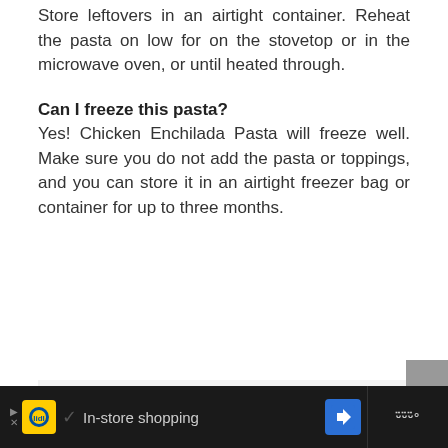Store leftovers in an airtight container. Reheat the pasta on low for on the stovetop or in the microwave oven, or until heated through.
Can I freeze this pasta?
Yes! Chicken Enchilada Pasta will freeze well. Make sure you do not add the pasta or toppings, and you can store it in an airtight freezer bag or container for up to three months.
[Figure (other): Gray placeholder content area at bottom of page]
In-store shopping [Advertisement bar with Lidl logo, checkmark, navigation icon, and media controls]